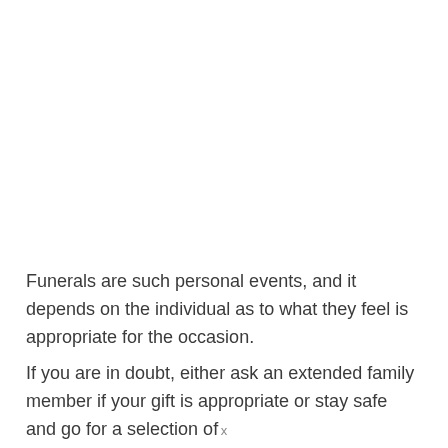Funerals are such personal events, and it depends on the individual as to what they feel is appropriate for the occasion.
If you are in doubt, either ask an extended family member if your gift is appropriate or stay safe and go for a selection of
x